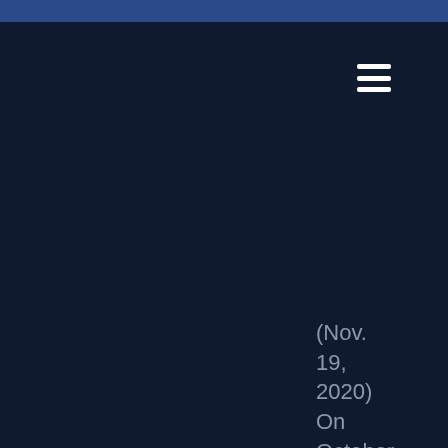(Nov. 19, 2020) On October 13 and 15, 2020, Japan's